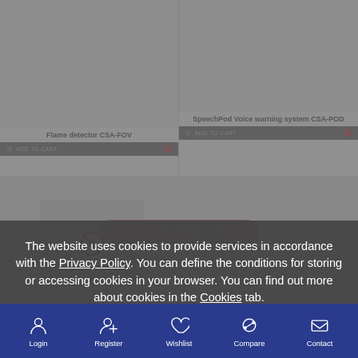[Figure (screenshot): Product grid showing Flame detector CSA-FOV and SpeechPod Voice warning system CSA-POD cards with ADD TO CART buttons]
The website uses cookies to provide services in accordance with the Privacy Policy. You can define the conditions for storing or accessing cookies in your browser. You can find out more about cookies in the Cookies tab.
ACCEPT
Login | Register | Wishlist | Compare | Contact